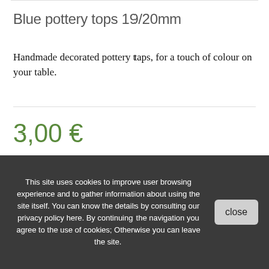Blue pottery tops 19/20mm
Handmade decorated pottery taps, for a touch of colour on your table.
3,00 €
990 Items
− 1 +
This site uses cookies to improve user browsing experience and to gather information about using the site itself. You can know the details by consulting our privacy policy here. By continuing the navigation you agree to the use of cookies; Otherwise you can leave the site.